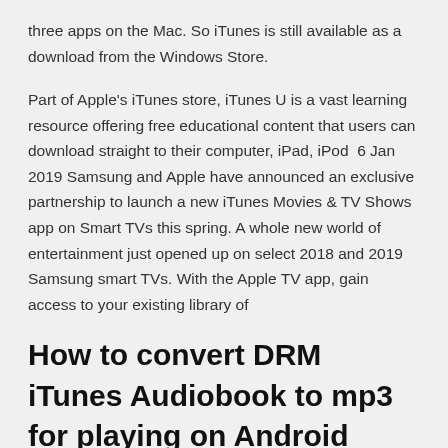three apps on the Mac. So iTunes is still available as a download from the Windows Store.
Part of Apple's iTunes store, iTunes U is a vast learning resource offering free educational content that users can download straight to their computer, iPad, iPod  6 Jan 2019 Samsung and Apple have announced an exclusive partnership to launch a new iTunes Movies & TV Shows app on Smart TVs this spring. A whole new world of entertainment just opened up on select 2018 and 2019 Samsung smart TVs. With the Apple TV app, gain access to your existing library of
How to convert DRM iTunes Audiobook to mp3 for playing on Android phones, this guide will help